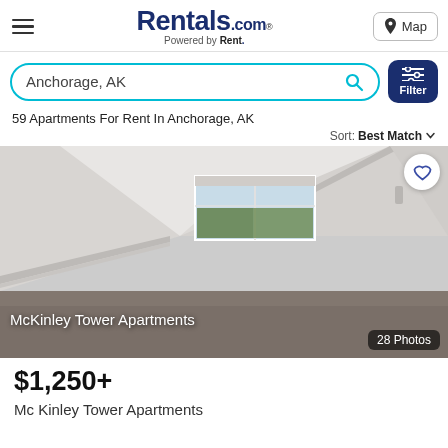Rentals.com® Powered by Rent. | Map
Anchorage, AK
59 Apartments For Rent In Anchorage, AK
Sort: Best Match
[Figure (photo): Interior photo of an empty apartment room with light grey walls, large corner windows with a view of trees/city, baseboard heaters, and grey carpet flooring. Text overlay reads 'McKinley Tower Apartments'. Badge reads '28 Photos'.]
$1,250+
Mc Kinley Tower Apartments